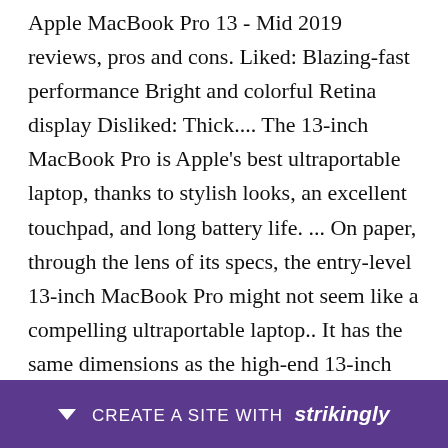Apple MacBook Pro 13 - Mid 2019 reviews, pros and cons. Liked: Blazing-fast performance Bright and colorful Retina display Disliked: Thick.... The 13-inch MacBook Pro is Apple&#39;s best ultraportable laptop, thanks to stylish looks, an excellent touchpad, and long battery life. ... On paper, through the lens of its specs, the entry-level 13-inch MacBook Pro might not seem like a compelling ultraportable laptop.. It has the same dimensions as the high-end 13-inch MacBook Pro that we reviewed in 2018, measuring just 14.9mm thick, 304mm wide, and.... The new Air is a lot like the MacBook Pro and has the same 13-inch Retina [display] ...yed batt...
[Figure (other): Purple banner overlay at bottom of page with a downward arrow icon, 'CREATE A SITE WITH' text and 'strikingly' brand name in bold italic.]